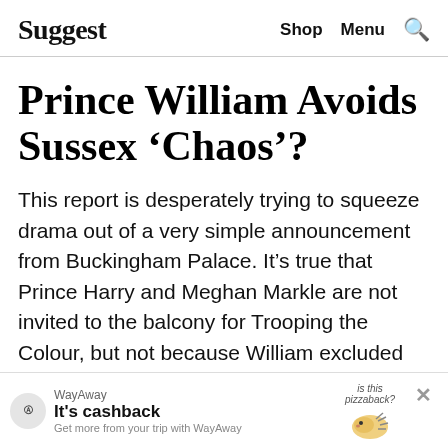Suggest  Shop  Menu
Prince William Avoids Sussex ‘Chaos’?
This report is desperately trying to squeeze drama out of a very simple announcement from Buckingham Palace. It’s true that Prince Harry and Meghan Markle are not invited to the balcony for Trooping the Colour, but not because William excluded him specifically. The palace has decided to limit the balcony guests to only working royals. This means that Prince Andrew...
[Figure (screenshot): WayAway advertisement banner at bottom of page. Shows WayAway logo, text 'It's cashback' and 'Get more from your trip with WayAway', with an illustration of a pizza hedgehog and 'is this pizzaback?' text, and a close X button.]